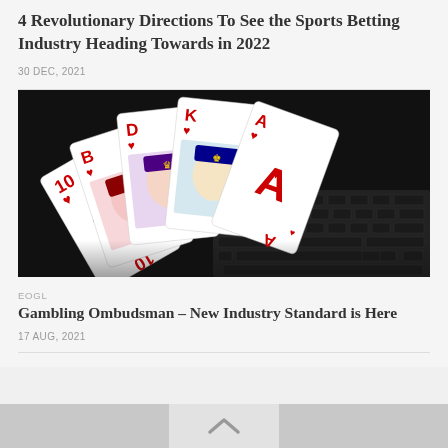4 Revolutionary Directions To See the Sports Betting Industry Heading Towards in 2022
30 DEC, 2021
[Figure (photo): Playing cards (10, B, D, K, A of hearts suit) fanned out and standing upright on a laptop keyboard against a dark background]
EOGL
Gambling Ombudsman – New Industry Standard is Here
17 AUG, 2021